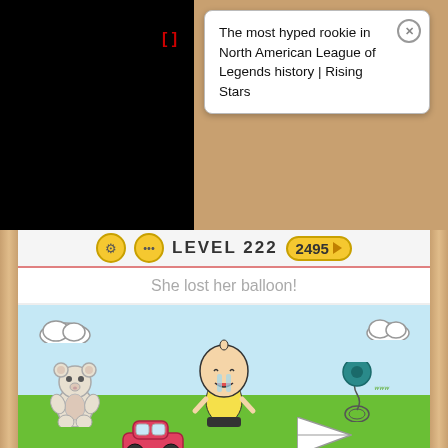[Figure (screenshot): Mobile game screenshot showing a puzzle level. Top portion is a dark popup showing a video thumbnail with red bracket icon and a white speech bubble containing the text 'The most hyped rookie in North American League of Legends history | Rising Stars' with a close (X) button. Below is the game interface with LEVEL 222, score 2495, puzzle prompt 'She lost her balloon!' and an illustration of a crying baby on green grass with a teddy bear, yo-yo, paper airplane, and toy car. Wooden frame borders visible on left and right.]